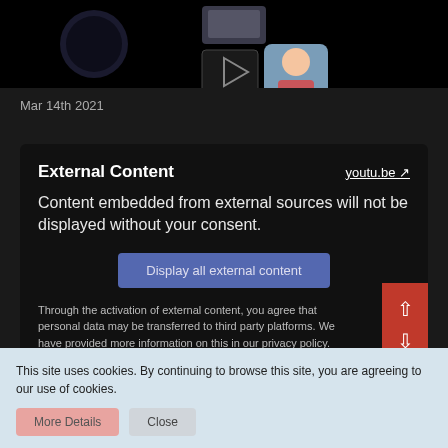[Figure (photo): Dark background image collage showing circular dark photo, group photo thumbnail, logo/album art, and person thumbnail]
Mar 14th 2021
External Content
youtu.be ↗
Content embedded from external sources will not be displayed without your consent.
Display all external content
Through the activation of external content, you agree that personal data may be transferred to third party platforms. We have provided more information on this in our privacy policy.
This site uses cookies. By continuing to browse this site, you are agreeing to our use of cookies.
More Details
Close